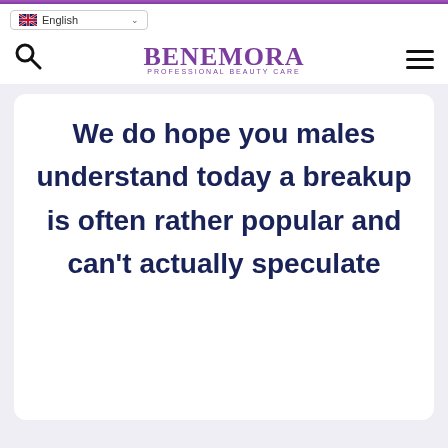[Figure (screenshot): Website header with language selector dropdown showing 'English' with UK flag, a search icon, BENEMORA PROFESSIONAL BEAUTY CARE logo in purple, and hamburger menu icon]
We do hope you males understand today a breakup is often rather popular and can't actually speculate